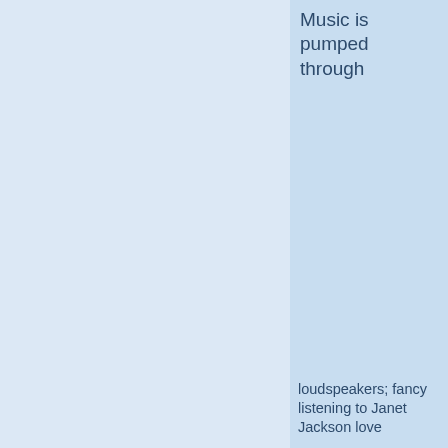Music is pumped through
[Figure (photo): Night photo of a large illuminated ice sculpture castle at the Harbin Ice Festival in China. The structure features multiple towers lit with orange, green, and purple lights. Two silhouetted figures stand in the foreground, with a Chinese-language banner sign visible near them.]
loudspeakers; fancy listening to Janet Jackson love